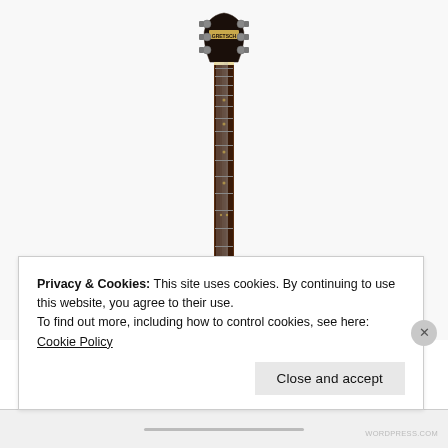[Figure (photo): Photo of a Gretsch guitar showing the headstock and neck/fretboard against a white background. The headstock has the Gretsch logo and six tuning pegs. The neck extends downward showing frets and inlays, with the body partially visible at the bottom.]
Privacy & Cookies: This site uses cookies. By continuing to use this website, you agree to their use.
To find out more, including how to control cookies, see here: Cookie Policy
Close and accept